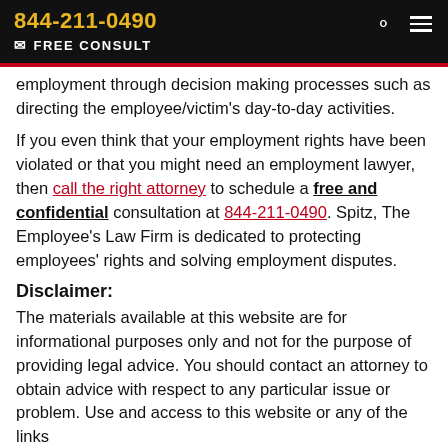844-211-0490 FREE CONSULT
employment through decision making processes such as directing the employee/victim’s day-to-day activities.
If you even think that your employment rights have been violated or that you might need an employment lawyer, then call the right attorney to schedule a free and confidential consultation at 844-211-0490. Spitz, The Employee’s Law Firm is dedicated to protecting employees’ rights and solving employment disputes.
Disclaimer:
The materials available at this website are for informational purposes only and not for the purpose of providing legal advice. You should contact an attorney to obtain advice with respect to any particular issue or problem. Use and access to this website or any of the links